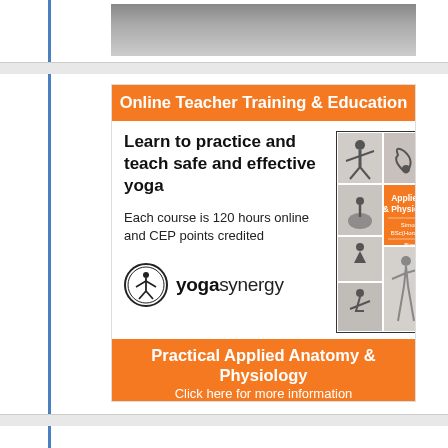[Figure (photo): Partial photo strip showing bottom of a person in yoga/athletic pose, gray background]
Online Teacher Training & Education
Learn to practice and teach safe and effective yoga
Each course is 120 hours online and CEP points credited
[Figure (logo): Yoga Synergy logo: circular emblem with figure inside, text reads 'yogasynergy']
[Figure (photo): Book cover: 'Applied Anatomy & Physiology of Yoga' with grid of yoga pose photos on orange and white background]
Practical Applied Anatomy & Physiology
Click here for more information